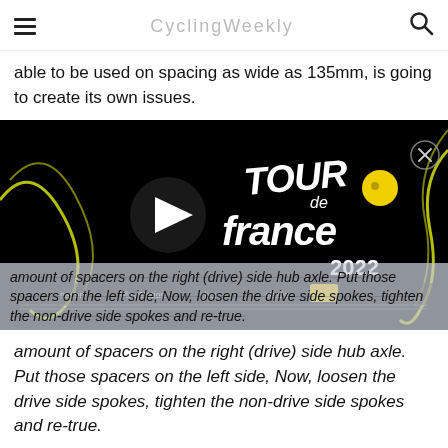≡  [site title]  🔍
able to be used on spacing as wide as 135mm, is going to create its own issues.
[Figure (screenshot): Tour de France 2022 video thumbnail on black background with yellow swirl graphics and play button, showing game/event branding with sponsor logos at bottom]
amount of spacers on the right (drive) side hub axle. Put those spacers on the left side, Now, loosen the drive side spokes, tighten the non-drive side spokes and re-true.
I don't have time now to spell out in detail how to do this,